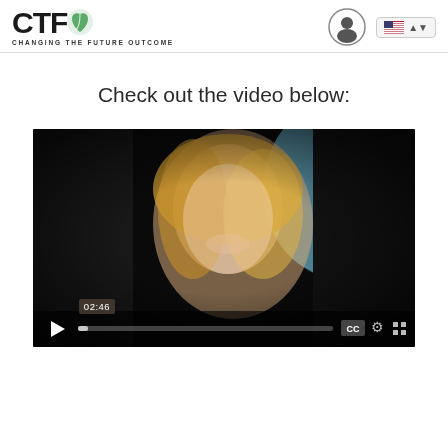[Figure (logo): CTFO logo with green leaf icon and tagline 'CHANGING THE FUTURE OUTCOME']
[Figure (illustration): User account icon (person silhouette in circle) and flag/language selector button (US flag)]
Check out the video below:
[Figure (screenshot): Video player showing a smiling blonde woman, with controls: play button, timestamp 02:46, progress bar, CC button, settings gear, fullscreen icon]